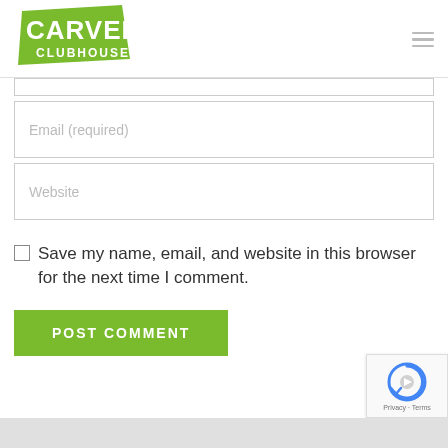[Figure (logo): Carvers Clubhouse logo — green roughly rectangular background with white bold text 'CARVERS' on top and 'CLUBHOUSE' below in smaller white text]
Email (required)
Website
Save my name, email, and website in this browser for the next time I comment.
POST COMMENT
[Figure (logo): Google reCAPTCHA badge with spinning arrow icon and Privacy · Terms text]